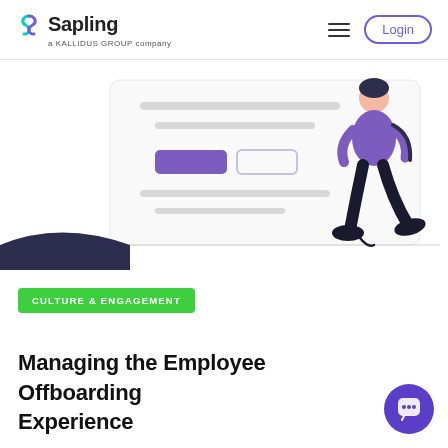Sapling — a KALLIDUS GROUP company | Login
[Figure (illustration): Hero illustration of a walking person in purple top and dark pants next to a UI card mockup with placeholder text lines and two buttons (one filled purple, one outlined). Dark navy swoosh in bottom-left corner.]
CULTURE & ENGAGEMENT
Managing the Employee Offboarding Experience